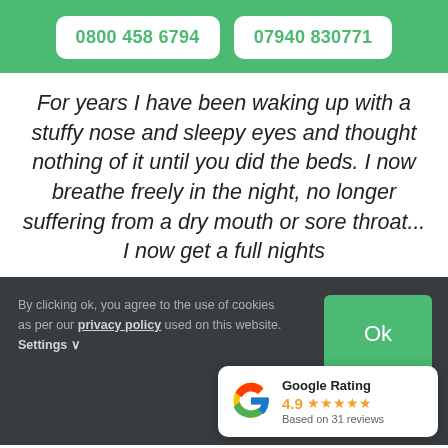0800 458 6794   07940 830771
For years I have been waking up with a stuffy nose and sleepy eyes and thought nothing of it until you did the beds. I now breathe freely in the night, no longer suffering from a dry mouth or sore throat... I now get a full nights
By clicking ok, you agree to the use of cookies as per our privacy policy used on this website. Settings
Ok
[Figure (logo): Google Rating badge showing 4.9 stars based on 31 reviews]
Google Rating 4.9 ★★★★★ Based on 31 reviews